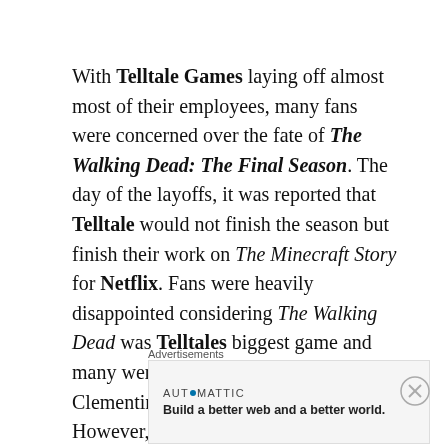With Telltale Games laying off almost most of their employees, many fans were concerned over the fate of The Walking Dead: The Final Season. The day of the layoffs, it was reported that Telltale would not finish the season but finish their work on The Minecraft Story for Netflix. Fans were heavily disappointed considering The Walking Dead was Telltales biggest game and many were invested in the life of Clementine, the main character. However, it looks like Telltale will continue making The Walking Dead.
Advertisements
[Figure (other): Automattic advertisement banner with text 'Build a better web and a better world.']